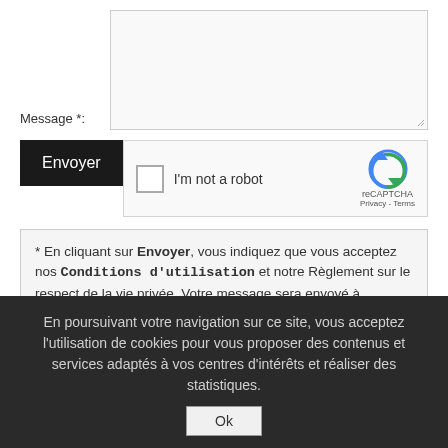Message *:
Envoyer
[Figure (other): reCAPTCHA widget with checkbox 'I'm not a robot' and reCAPTCHA logo, Privacy - Terms links]
* En cliquant sur Envoyer, vous indiquez que vous acceptez nos Conditions d'utilisation et notre Règlement sur le respect de la vie privée. Votre message sera envoyé à l'annonceur et ne sera pas rendu public.
En poursuivant votre navigation sur ce site, vous acceptez l'utilisation de cookies pour vous proposer des contenus et services adaptés à vos centres d'intérêts et réaliser des statistiques.
Ok